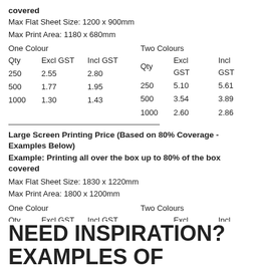covered
Max Flat Sheet Size: 1200 x 900mm
Max Print Area: 1180 x 680mm
| Qty | Excl GST | Incl GST |
| --- | --- | --- |
| 250 | 2.55 | 2.80 |
| 500 | 1.77 | 1.95 |
| 1000 | 1.30 | 1.43 |
| Qty | Excl GST | Incl GST |
| --- | --- | --- |
| 250 | 5.10 | 5.61 |
| 500 | 3.54 | 3.89 |
| 1000 | 2.60 | 2.86 |
Large Screen Printing Price (Based on 80% Coverage - Examples Below)
Example: Printing all over the box up to 80% of the box covered
Max Flat Sheet Size: 1830 x 1220mm
Max Print Area: 1800 x 1200mm
| Qty | Excl GST | Incl GST |
| --- | --- | --- |
| 250 | 3.13 | 3.45 |
| 500 | 2.50 | 2.75 |
| 1000 | 2.15 | 2.37 |
| Qty | Excl GST | Incl GST |
| --- | --- | --- |
| 250 | 6.26 | 6.89 |
| 500 | 5.00 | 5.50 |
| 1000 | 4.30 | 4.73 |
NEED INSPIRATION? EXAMPLES OF